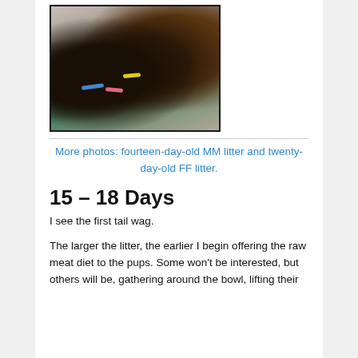[Figure (photo): Photo of three young puppies with colored collars (blue, pink, yellow) sitting together on blankets with a green mat visible. Dark/brown fur puppies, appears to be around 2 weeks old.]
More photos: fourteen-day-old MM litter and twenty-day-old FF litter.
15 – 18 Days
I see the first tail wag.
The larger the litter, the earlier I begin offering the raw meat diet to the pups. Some won't be interested, but others will be, gathering around the bowl, lifting their